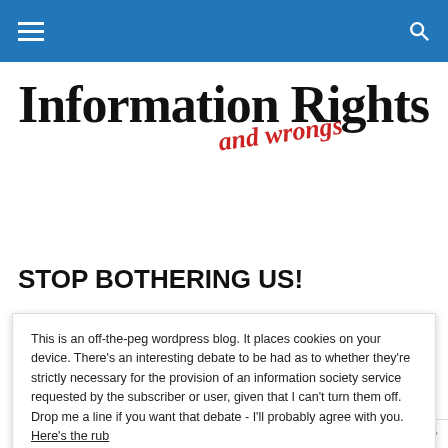Information Rights and wrongs
STOP BOTHERING US!
This is an off-the-peg wordpress blog. It places cookies on your device. There's an interesting debate to be had as to whether they're strictly necessary for the provision of an information society service requested by the subscriber or user, given that I can't turn them off. Drop me a line if you want that debate - I'll probably agree with you. Here's the rub
They're OK, probably much the same as the rest, but I've been comparing notes with them. And every so often they give me an "upgrade" to a nice shiny new smartphone which...